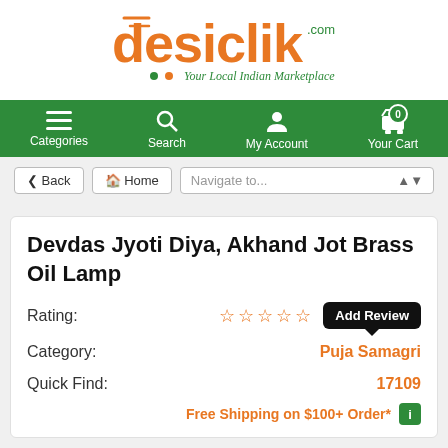[Figure (logo): Desiclik.com logo with orange and green colors, tagline 'Your Local Indian Marketplace']
Categories | Search | My Account | Your Cart (0)
< Back  Home  Navigate to...
Devdas Jyoti Diya, Akhand Jot Brass Oil Lamp
Rating: ☆☆☆☆☆ Add Review
Category: Puja Samagri
Quick Find: 17109
Free Shipping on $100+ Order*